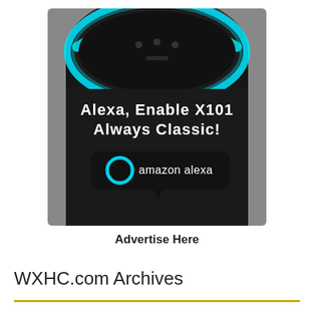[Figure (photo): Amazon Echo (Alexa) smart speaker with blue light ring on top. Text on image reads 'Alexa, Enable X101 Always Classic!' with an Amazon Alexa logo badge below.]
Advertise Here
WXHC.com Archives